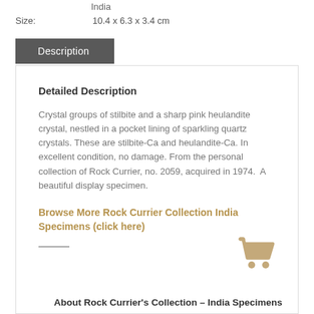India
Size:   10.4 x 6.3 x 3.4 cm
Description
Detailed Description
Crystal groups of stilbite and a sharp pink heulandite crystal, nestled in a pocket lining of sparkling quartz crystals. These are stilbite-Ca and heulandite-Ca. In excellent condition, no damage. From the personal collection of Rock Currier, no. 2059, acquired in 1974. A beautiful display specimen.
Browse More Rock Currier Collection India Specimens (click here)
[Figure (illustration): Shopping cart icon in tan/beige color]
About Rock Currier's Collection – India Specimens